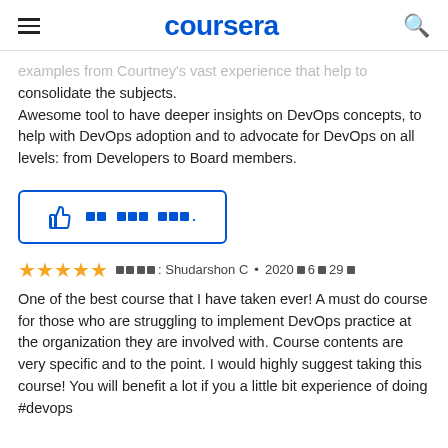coursera
examples from Courtney's vast experience that help to consolidate the subjects.
Awesome tool to have deeper insights on DevOps concepts, to help with DevOps adoption and to advocate for DevOps on all levels: from Developers to Board members.
[Figure (other): Thumbs up helpful button with encoded text]
★★★★★  [Encoded] Shudarshon C • 2020년 6월 29일
One of the best course that I have taken ever! A must do course for those who are struggling to implement DevOps practice at the organization they are involved with. Course contents are very specific and to the point. I would highly suggest taking this course! You will benefit a lot if you a little bit experience of doing #devops